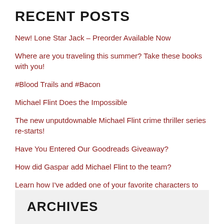RECENT POSTS
New! Lone Star Jack – Preorder Available Now
Where are you traveling this summer? Take these books with you!
#Blood Trails and #Bacon
Michael Flint Does the Impossible
The new unputdownable Michael Flint crime thriller series re-starts!
Have You Entered Our Goodreads Giveaway?
How did Gaspar add Michael Flint to the team?
Learn how I've added one of your favorite characters to this new series!
ARCHIVES